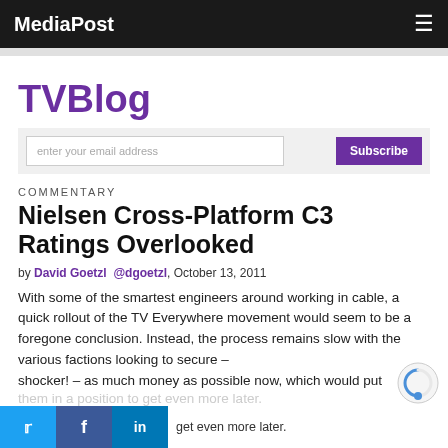MediaPost
TVBlog
COMMENTARY
Nielsen Cross-Platform C3 Ratings Overlooked
by David Goetzl @dgoetzl, October 13, 2011
With some of the smartest engineers around working in cable, a quick rollout of the TV Everywhere movement would seem to be a foregone conclusion. Instead, the process remains slow with the various factions looking to secure – shocker! – as much money as possible now, which would put them in a position to get even more later.